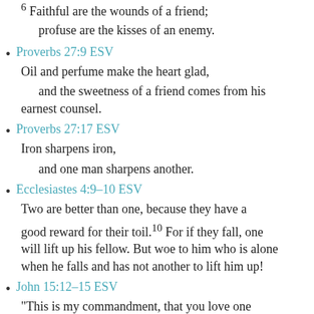6 Faithful are the wounds of a friend; profuse are the kisses of an enemy.
Proverbs 27:9 ESV
Oil and perfume make the heart glad, and the sweetness of a friend comes from his earnest counsel.
Proverbs 27:17 ESV
Iron sharpens iron, and one man sharpens another.
Ecclesiastes 4:9-10 ESV
Two are better than one, because they have a good reward for their toil.10 For if they fall, one will lift up his fellow. But woe to him who is alone when he falls and has not another to lift him up!
John 15:12-15 ESV
"This is my commandment, that you love one another as I have loved you.13 Greater love has no one than this, that someone lay down his life for his friends. 14 You are my friends if you do